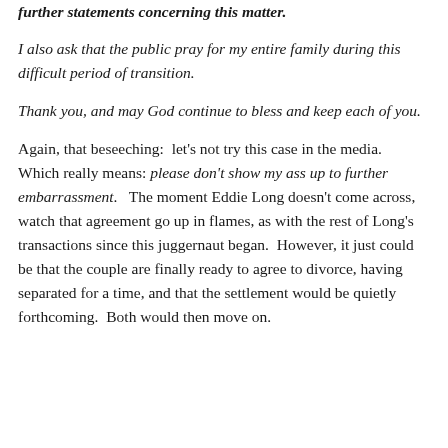further statements concerning this matter.
I also ask that the public pray for my entire family during this difficult period of transition.
Thank you, and may God continue to bless and keep each of you.
Again, that beseeching:  let's not try this case in the media.  Which really means: please don't show my ass up to further embarrassment.   The moment Eddie Long doesn't come across, watch that agreement go up in flames, as with the rest of Long's transactions since this juggernaut began.  However, it just could be that the couple are finally ready to agree to divorce, having separated for a time, and that the settlement would be quietly forthcoming.  Both would then move on.